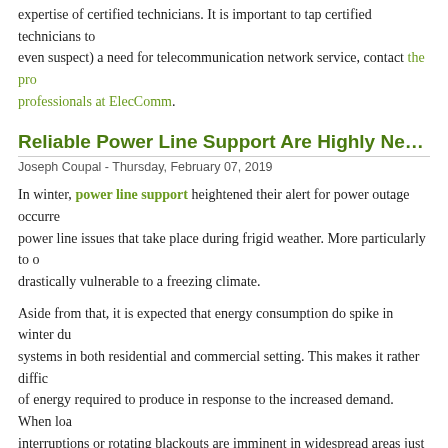expertise of certified technicians. It is important to tap certified technicians to even suspect) a need for telecommunication network service, contact the professionals at ElecComm.
Reliable Power Line Support Are Highly Needed in Winter
Joseph Coupal - Thursday, February 07, 2019
In winter, power line support heightened their alert for power outage occurrences and power line issues that take place during frigid weather. More particularly to drastically vulnerable to a freezing climate.
Aside from that, it is expected that energy consumption do spike in winter due to systems in both residential and commercial setting. This makes it rather difficult of energy required to produce in response to the increased demand. When load interruptions or rotating blackouts are imminent in widespread areas just to do
Power system malfunction can be somehow mitigated by reinforcing or upgrading. Meanwhile, upgrading the load forecasting system to a more advanced technology distribution level.
For prompt power line repairs, maintenance and electrical infrastructure
Fiber Optic Splicing Services
Joseph Coupal - Wednesday, January 30, 2019